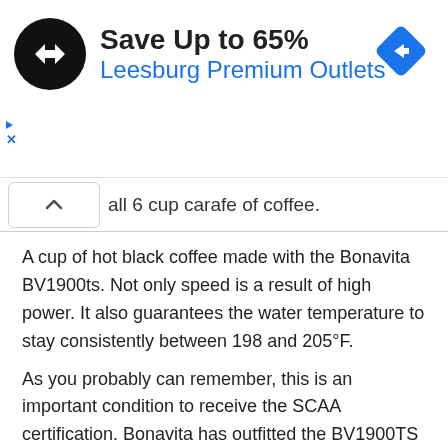[Figure (infographic): Advertisement banner: black circular logo with double arrow symbol, text 'Save Up to 65%' in bold dark, 'Leesburg Premium Outlets' in blue, blue diamond navigation icon on the right. Small play and X icons on left edge.]
all 6 cup carafe of coffee.
A cup of hot black coffee made with the Bonavita BV1900ts. Not only speed is a result of high power. It also guarantees the water temperature to stay consistently between 198 and 205°F.
As you probably can remember, this is an important condition to receive the SCAA certification. Bonavita has outfitted the BV1900TS with a Pre-Infusion highlight to let the espresso 'blossom' before the preparation starts.